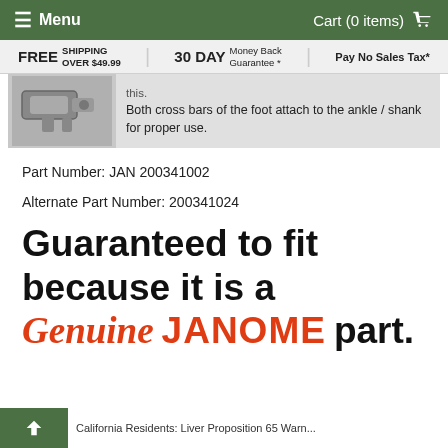≡ Menu    Cart (0 items)
FREE SHIPPING OVER $49.99    30 DAY Money Back Guarantee *    Pay No Sales Tax*
[Figure (photo): Product image of sewing machine foot attachment parts]
Both cross bars of the foot attach to the ankle / shank for proper use.
Part Number: JAN 200341002
Alternate Part Number: 200341024
Guaranteed to fit because it is a Genuine JANOME part.